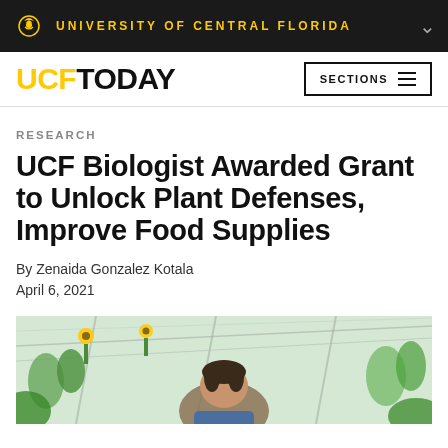UNIVERSITY OF CENTRAL FLORIDA
UCF TODAY
RESEARCH
UCF Biologist Awarded Grant to Unlock Plant Defenses, Improve Food Supplies
By Zenaida Gonzalez Kotala
April 6, 2021
[Figure (photo): A person standing in a greenhouse with sunflowers and green plants visible in the background]